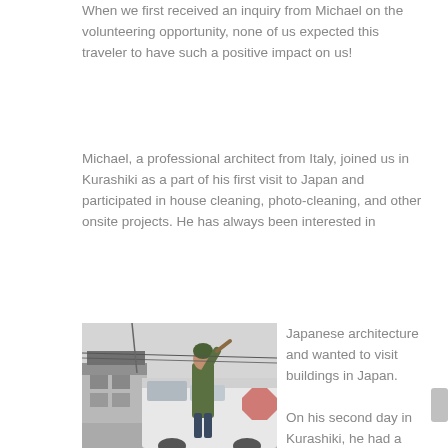When we first received an inquiry from Michael on the volunteering opportunity, none of us expected this traveler to have such a positive impact on us!
Michael, a professional architect from Italy, joined us in Kurashiki as a part of his first visit to Japan and participated in house cleaning, photo-cleaning, and other onsite projects. He has always been interested in Japanese architecture and wanted to visit buildings in Japan.
[Figure (photo): A person in a green jacket reaching up to clean the roof of a white van parked on a street with traditional Japanese buildings in the background, snowy/overcast weather.]
On his second day in Kurashiki, he had a chance to visit a traditional Japanese-style house under